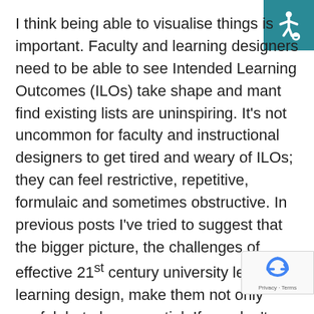I think being able to visualise things is important. Faculty and learning designers need to be able to see Intended Learning Outcomes (ILOs) take shape and mant find existing lists are uninspiring. It's not uncommon for faculty and instructional designers to get tired and weary of ILOs; they can feel restrictive, repetitive, formulaic and sometimes obstructive. In previous posts I've tried to suggest that the bigger picture, the challenges of effective 21st century university level learning design, make them not only useful, but also essential. If you don't agree, don't bother reading. I'm not going to try and persuade you. If you t[here's some truth in the argument and you w]ant to engage with ILOs to make your teaching more
[Figure (illustration): Accessibility icon: white wheelchair symbol on teal/dark cyan square background, top-right corner]
[Figure (illustration): Google reCAPTCHA badge: rotating arrows icon with 'Privacy - Terms' text, bottom-right corner]